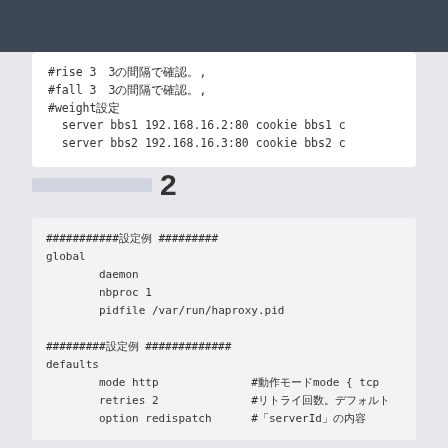#rise 3　3の間隔で確認。,
#fall 3　3の間隔で確認。,
#weight設定
  server bbs1 192.168.16.2:80 cookie bbs1 c
  server bbs2 192.168.16.3:80 cookie bbs2 c
2
###########設定例 ######### 
global
        daemon
        nbproc 1
        pidfile /var/run/haproxy.pid

#########設定例 #############
defaults
        mode http              #動作モーmode { tcp
        retries 2              #リトライ台数。デフォルト
        option redispatch      #「serverId」の内容